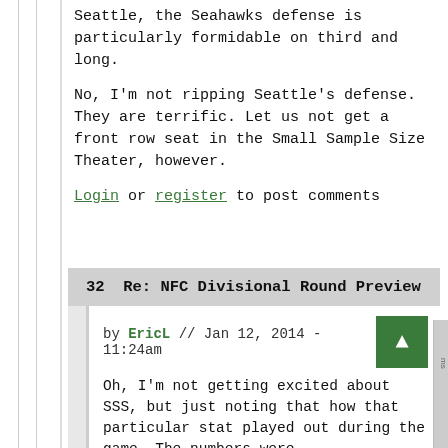Seattle, the Seahawks defense is particularly formidable on third and long.
No, I'm not ripping Seattle's defense. They are terrific. Let us not get a front row seat in the Small Sample Size Theater, however.
Login or register to post comments
32  Re: NFC Divisional Round Preview
by EricL // Jan 12, 2014 - 11:24am
Oh, I'm not getting excited about SSS, but just noting that how that particular stat played out during the game. The numbers were